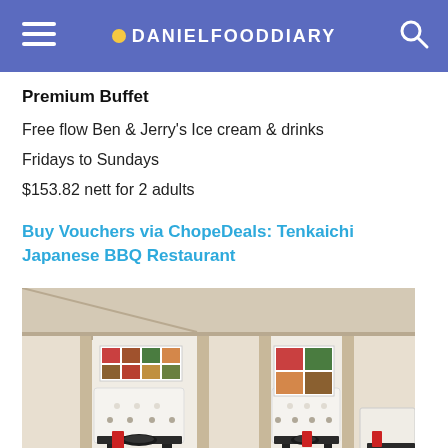DANIELFOODDIARY
Premium Buffet
Free flow Ben & Jerry's Ice cream & drinks
Fridays to Sundays
$153.82 nett for 2 adults
Buy Vouchers via ChopeDeals: Tenkaichi Japanese BBQ Restaurant
[Figure (photo): Interior of Tenkaichi Japanese BBQ Restaurant showing booth seating with individual grills, beige/cream partitions and walls, food menu photos displayed on walls, modern clean aesthetic.]